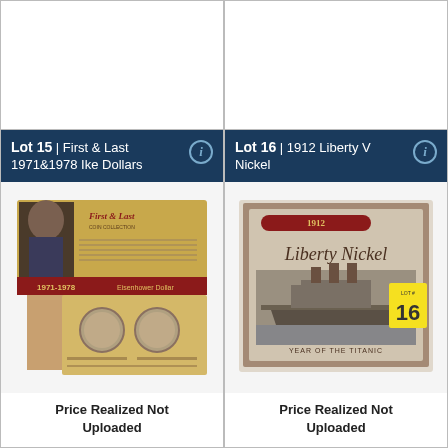[Figure (photo): Empty top-left cell, no image]
[Figure (photo): Empty top-right cell, no image]
Lot 15 | First & Last 1971&1978 Ike Dollars
[Figure (photo): Photo of First & Last Coin Collection box showing 1971-1978 Eisenhower Dollars with two coins visible]
Price Realized Not Uploaded
Lot 16 | 1912 Liberty V Nickel
[Figure (photo): Photo of 1912 Liberty Nickel Year of the Titanic coin package with a ship image, yellow lot tag reading LOT# 16]
Price Realized Not Uploaded